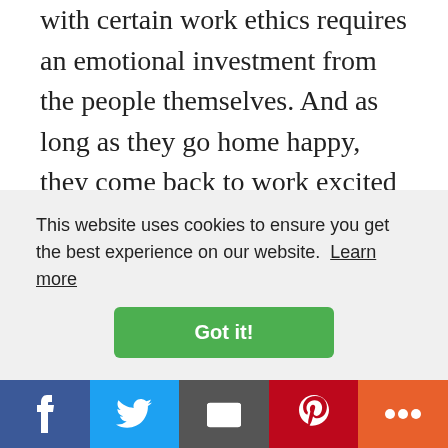with certain work ethics requires an emotional investment from the people themselves. And as long as they go home happy, they come back to work excited and motivated. Maybe it's time you take a look at how your team really works their work.
This website uses cookies to ensure you get the best experience on our website. Learn more
Got it!